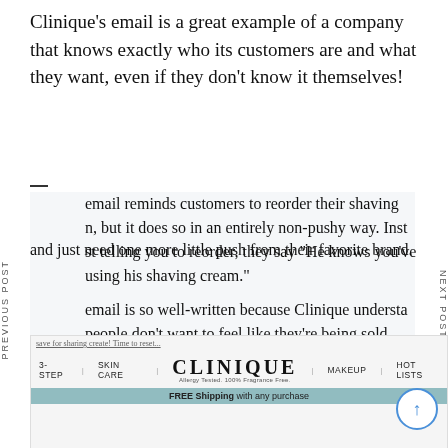Clinique's email is a great example of a company that knows exactly who its customers are and what they want, even if they don't know it themselves!
The email reminds customers to reorder their shaving cream, but it does so in an entirely non-pushy way. Instead of just telling you to reorder, they say "He knows you've been using his shaving cream."
The email is so well-written because Clinique understands that people don't want to feel like they're being sold something—they want to feel like they're already buying it and just need one more little push from their favorite brand.
[Figure (screenshot): Screenshot of Clinique website showing navigation bar with 3-STEP, SKIN CARE, CLINIQUE logo, MAKEUP, HOT LISTS and a FREE Shipping with any purchase banner]